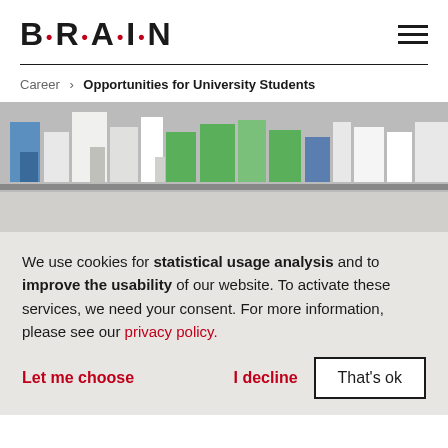B·R·A·I·N
Career › Opportunities for University Students
[Figure (photo): Laboratory shelves with colorful boxes and supplies, person visible in background]
We use cookies for statistical usage analysis and to improve the usability of our website. To activate these services, we need your consent. For more information, please see our privacy policy.
Let me choose   I decline   That's ok